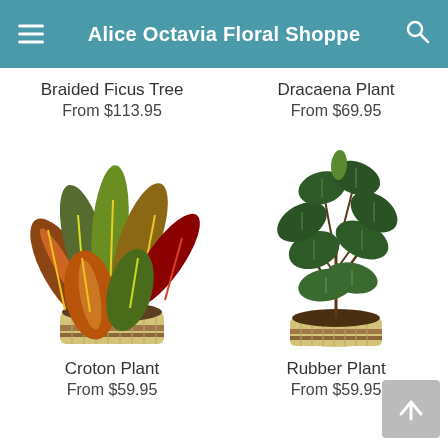Alice Octavia Floral Shoppe
Braided Ficus Tree
From $113.95
Dracaena Plant
From $69.95
[Figure (photo): Croton Plant in a woven basket planter with colorful yellow, green, red, and orange leaves]
Croton Plant
From $59.95
[Figure (photo): Rubber Plant in a woven basket planter with large dark green oval leaves]
Rubber Plant
From $59.95